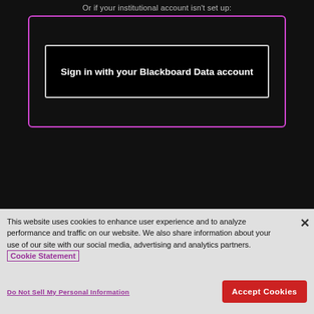[Figure (screenshot): Screenshot of a Blackboard login page showing a dark/black background with a 'Sign in with your Blackboard Data account' button inside a purple-bordered box, with text 'Or if your institutional account isn't set up:' above.]
This website uses cookies to enhance user experience and to analyze performance and traffic on our website. We also share information about your use of our site with our social media, advertising and analytics partners. Cookie Statement
Do Not Sell My Personal Information
Accept Cookies